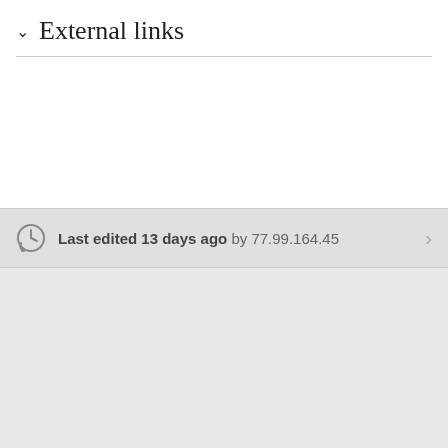External links
Last edited 13 days ago by 77.99.164.45